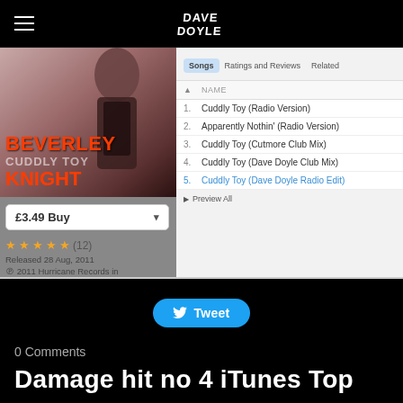Dave Doyle (logo) — navigation bar with hamburger menu
[Figure (screenshot): iTunes store screenshot showing Beverley Knight Cuddly Toy album with £3.49 Buy button, 4.5 star rating (12 reviews), Released 28 Aug, 2011, copyright 2011 Hurricane Records in association with Finchcrest LL... More. Song list: 1. Cuddly Toy (Radio Version), 2. Apparently Nothin' (Radio Version), 3. Cuddly Toy (Cutmore Club Mix), 4. Cuddly Toy (Dave Doyle Club Mix), 5. Cuddly Toy (Dave Doyle Radio Edit) [highlighted in blue]. Tabs: Songs, Ratings and Reviews, Related. Preview All button.]
[Figure (other): Tweet button (blue rounded pill with Twitter bird icon)]
0 Comments
Damage hit no 4 iTunes Top